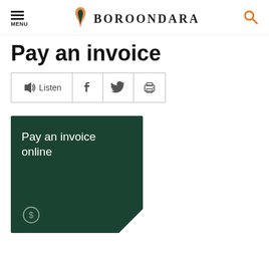MENU | BOROONDARA | Search
Pay an invoice
[Figure (screenshot): Social sharing and accessibility toolbar with Listen button, Facebook icon, Twitter icon, and print icon]
[Figure (other): Dark green card with text 'Pay an invoice online', dollar sign icon, and white triangle arrow in bottom right corner]